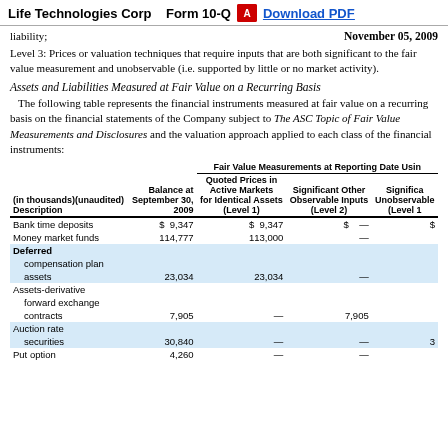Life Technologies Corp   Form 10-Q   Download PDF
liability;                                                            November 05, 2009
Level 3: Prices or valuation techniques that require inputs that are both significant to the fair value measurement and unobservable (i.e. supported by little or no market activity).
Assets and Liabilities Measured at Fair Value on a Recurring Basis
The following table represents the financial instruments measured at fair value on a recurring basis on the financial statements of the Company subject to The ASC Topic of Fair Value Measurements and Disclosures and the valuation approach applied to each class of the financial instruments:
| (in thousands)(unaudited) Description | Balance at September 30, 2009 | Quoted Prices in Active Markets for Identical Assets (Level 1) | Significant Other Observable Inputs (Level 2) | Significant Unobservable Inputs (Level 3) |
| --- | --- | --- | --- | --- |
| Bank time deposits | $ 9,347 | $ 9,347 | $ — | $ |
| Money market funds | 114,777 | 113,000 | — |  |
| Deferred compensation plan assets | 23,034 | 23,034 | — |  |
| Assets-derivative forward exchange contracts | 7,905 | — | 7,905 |  |
| Auction rate securities | 30,840 | — | — |  |
| Put option | 4,260 | — | — |  |